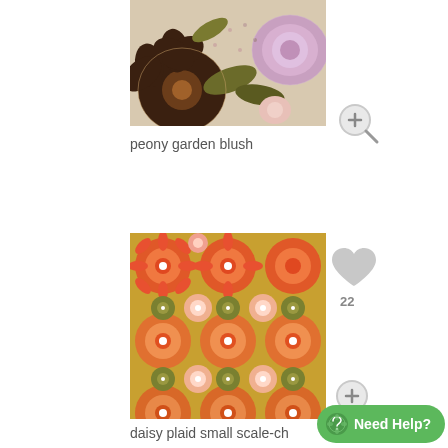[Figure (photo): Floral fabric pattern with dark brown and purple/pink peony flowers on a light background]
peony garden blush
[Figure (illustration): Zoom/magnify icon - gray circle with plus symbol and magnifying glass handle]
[Figure (photo): Daisy plaid small scale repeating pattern in orange, coral, yellow-green and white flowers]
[Figure (illustration): Heart icon in gray]
22
[Figure (illustration): Zoom/magnify icon - gray circle with plus symbol and magnifying glass handle]
daisy plaid small scale-ch
Need Help?